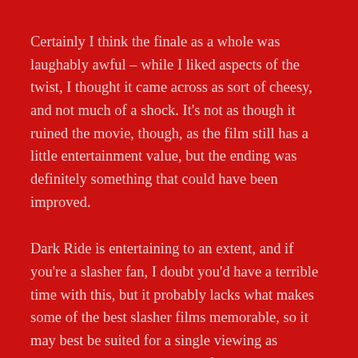Certainly I think the finale as a whole was laughably awful – while I liked aspects of the twist, I thought it came across as sort of cheesy, and not much of a shock. It's not as though it ruined the movie, though, as the film still has a little entertainment value, but the ending was definitely something that could have been improved.
Dark Ride is entertaining to an extent, and if you're a slasher fan, I doubt you'd have a terrible time with this, but it probably lacks what makes some of the best slasher films memorable, so it may best be suited for a single viewing as opposed to making any type of annual rotation.